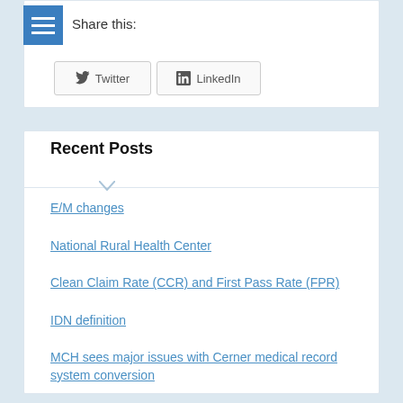Share this:
Twitter
LinkedIn
Recent Posts
E/M changes
National Rural Health Center
Clean Claim Rate (CCR) and First Pass Rate (FPR)
IDN definition
MCH sees major issues with Cerner medical record system conversion